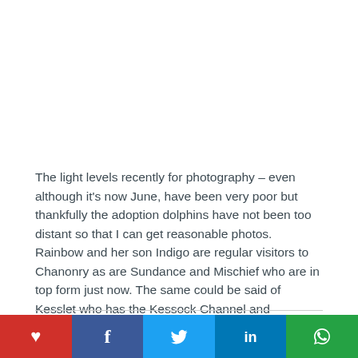The light levels recently for photography – even although it's now June, have been very poor but thankfully the adoption dolphins have not been too distant so that I can get reasonable photos. Rainbow and her son Indigo are regular visitors to Chanonry as are Sundance and Mischief who are in top form just now. The same could be said of Kesslet who has the Kessock Channel and Inverness Harbour all to herself and sometimes Charlie for company too. It's looking like a great summer of sightings ahead.
Posted in Blogs & Articles and tagged Adopt a Dolphin